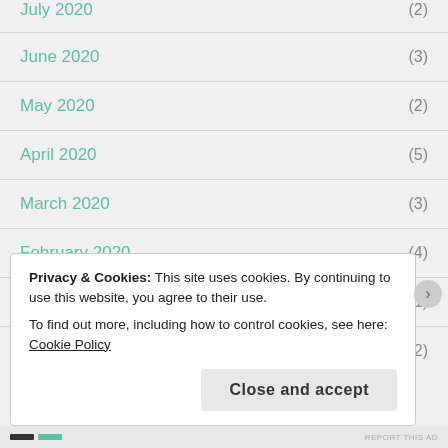July 2020 (2)
June 2020 (3)
May 2020 (2)
April 2020 (5)
March 2020 (3)
February 2020 (4)
December 2019 (1)
November 2019 (2)
Privacy & Cookies: This site uses cookies. By continuing to use this website, you agree to their use. To find out more, including how to control cookies, see here: Cookie Policy
REPORT THIS AD